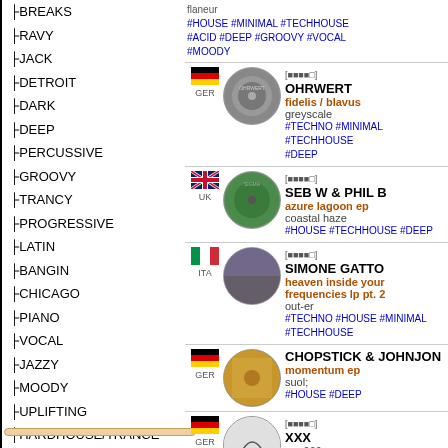BREAKS
RAVY
JACK
DETROIT
DARK
DEEP
PERCUSSIVE
GROOVY
TRANCY
PROGRESSIVE
LATIN
BANGIN
CHICAGO
PIANO
VOCAL
JAZZY
MOODY
UPLIFTING
HARDHOUSE/TRANCE
SUF
HARDCORE
flaneur #HOUSE #MINIMAL #TECHHOUSE #ACID #DEEP #GROOVY #VOCAL #MOODY
[ohrwert] OHRWERT fidelis / blavus greyscale #TECHNO #MINIMAL #TECHHOUSE #DEEP
[ohrwert] SEB W & PHIL B azure lagoon ep coastal haze #HOUSE #TECHHOUSE #DEEP
[ohrwert] SIMONE GATTO heaven inside your frequencies lp pt. 2 out-er #TECHNO #HOUSE #MINIMAL #TECHHOUSE
CHOPSTICK & JOHNJON momentum ep suol; #HOUSE #DEEP
[ohrwert] XXX xxx666 xxx the level #HOUSE #FUNKY #TECHHOUSE #DISCO #ACID #GROOVY #MOODY